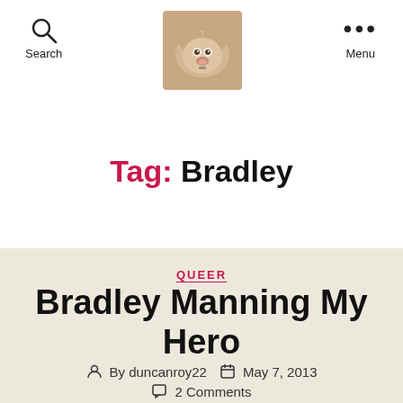Search | [dog logo image] | Menu
Tag: Bradley
QUEER
Bradley Manning My Hero
By duncanroy22  May 7, 2013  2 Comments